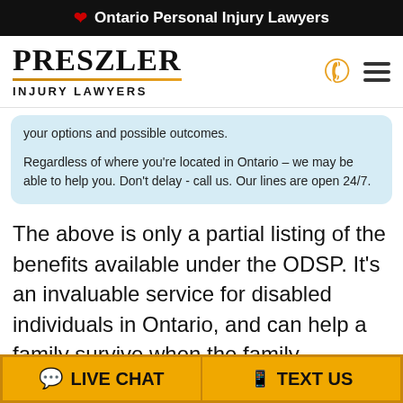🍁 Ontario Personal Injury Lawyers
[Figure (logo): Preszler Injury Lawyers logo with gold underline, phone icon and hamburger menu icon]
your options and possible outcomes.
Regardless of where you're located in Ontario – we may be able to help you. Don't delay - call us. Our lines are open 24/7.
The above is only a partial listing of the benefits available under the ODSP. It's an invaluable service for disabled individuals in Ontario, and can help a family survive when the family breadwinner has suffered a disabling illness or injury.
LIVE CHAT   TEXT US